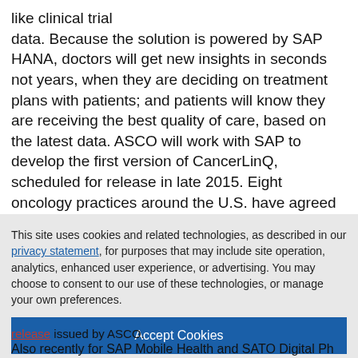like clinical trial data. Because the solution is powered by SAP HANA, doctors will get new insights in seconds not years, when they are deciding on treatment plans with patients; and patients will know they are receiving the best quality of care, based on the latest data. ASCO will work with SAP to develop the first version of CancerLinQ, scheduled for release in late 2015. Eight oncology practices around the U.S. have agreed to provide patient records and seven more large cancer centers will soon join this effort. This means data from approximately 500,000 patients will be represented in the first version of CancerLinQ.
This site uses cookies and related technologies, as described in our privacy statement, for purposes that may include site operation, analytics, enhanced user experience, or advertising. You may choose to consent to our use of these technologies, or manage your own preferences.
Accept Cookies
More Information
Privacy Policy | Powered by: TrustArc
release issued by ASCO.
Also recently for SAP Mobile Health and SATO Digital Ph